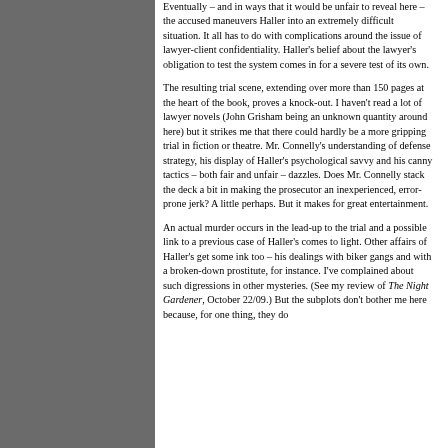Eventually – and in ways that it would be unfair to reveal here – the accused maneuvers Haller into an extremely difficult situation. It all has to do with complications around the issue of lawyer-client confidentiality. Haller's belief about the lawyer's obligation to test the system comes in for a severe test of its own.
The resulting trial scene, extending over more than 150 pages at the heart of the book, proves a knock-out. I haven't read a lot of lawyer novels (John Grisham being an unknown quantity around here) but it strikes me that there could hardly be a more gripping trial in fiction or theatre. Mr. Connelly's understanding of defense strategy, his display of Haller's psychological savvy and his canny tactics – both fair and unfair – dazzles. Does Mr. Connelly stack the deck a bit in making the prosecutor an inexperienced, error-prone jerk? A little perhaps. But it makes for great entertainment.
An actual murder occurs in the lead-up to the trial and a possible link to a previous case of Haller's comes to light. Other affairs of Haller's get some ink too – his dealings with biker gangs and with a broken-down prostitute, for instance. I've complained about such digressions in other mysteries. (See my review of The Night Gardener, October 22/09.) But the subplots don't bother me here because, for one thing, they do